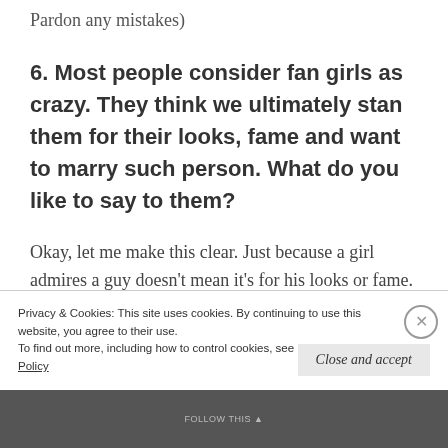Pardon any mistakes)
6. Most people consider fan girls as crazy. They think we ultimately stan them for their looks, fame and want to marry such person. What do you like to say to them?
Okay, let me make this clear. Just because a girl admires a guy doesn't mean it's for his looks or fame. Yes, looks do matter for a celebrity to be
Privacy & Cookies: This site uses cookies. By continuing to use this website, you agree to their use.
To find out more, including how to control cookies, see here: Cookie Policy
Close and accept